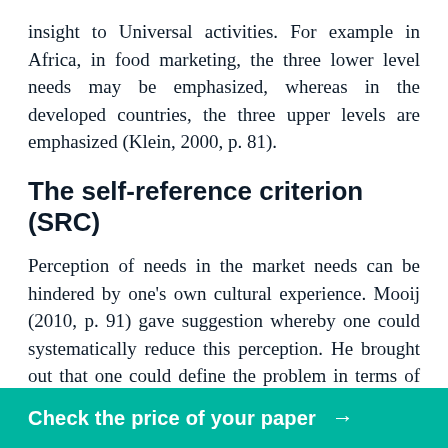insight to Universal activities. For example in Africa, in food marketing, the three lower level needs may be emphasized, whereas in the developed countries, the three upper levels are emphasized (Klein, 2000, p. 81).
The self-reference criterion (SRC)
Perception of needs in the market needs can be hindered by one's own cultural experience. Mooij (2010, p. 91) gave suggestion whereby one could systematically reduce this perception. He brought out that one could define the problem in terms of traits, norms and habits of a country and the foreign traits too. One could also set aside the self-reference criterion to examine it to see how it complicates the whole pattern. The last thing one does is to redefine [the self-reference criterion and
Check the price of your paper →